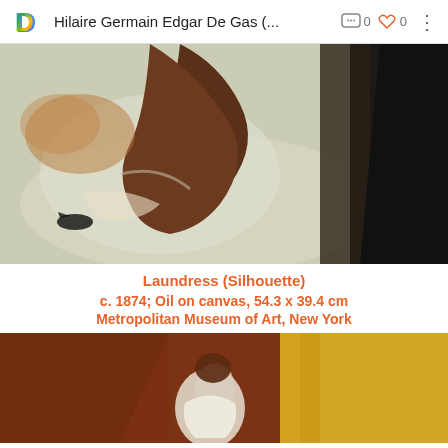Hilaire Germain Edgar De Gas (...
[Figure (photo): Close-up detail of an oil painting showing a dark silhouette figure (laundress) against a textured light-colored background with expressive brushwork]
Laundress (Silhouette)
c. 1874; Oil on canvas, 54.3 x 39.4 cm
Metropolitan Museum of Art, New York
[Figure (photo): Partial view of another painting showing a figure in white against a reddish-brown and yellow background]